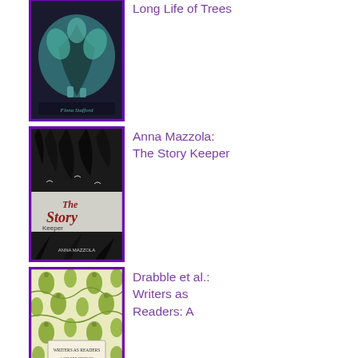[Figure (illustration): Book cover: Long Life of Trees by Fiona Stafford, featuring teal/green botanical illustration on dark background with purple border]
Long Life of Trees
[Figure (illustration): Book cover: The Story Keeper by Anna Mazzola, dark moody cover with feathers and birds, black and white tones with purple border]
Anna Mazzola: The Story Keeper
[Figure (illustration): Book cover: Writers as Readers: A Celebration of Virago Modern Classics, green decorative pattern cover with Virago apple logo, purple border]
Drabble et al.: Writers as Readers: A
Celebration of Virago Modern Classics